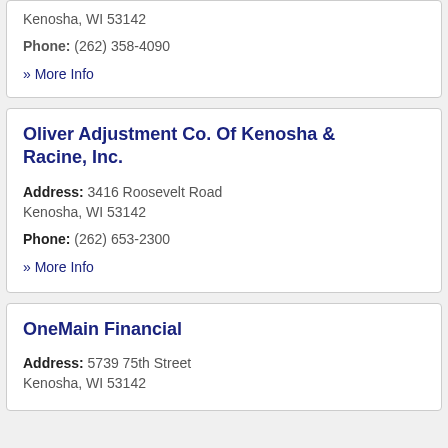Kenosha, WI 53142
Phone: (262) 358-4090
» More Info
Oliver Adjustment Co. Of Kenosha & Racine, Inc.
Address: 3416 Roosevelt Road Kenosha, WI 53142
Phone: (262) 653-2300
» More Info
OneMain Financial
Address: 5739 75th Street Kenosha, WI 53142